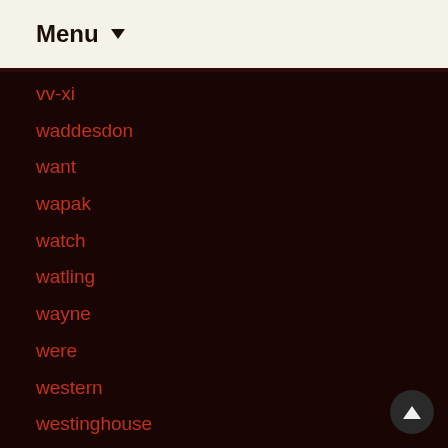Menu
vv-xi
waddesdon
want
wapak
watch
watling
wayne
were
western
westinghouse
wheels
where
whirlwind